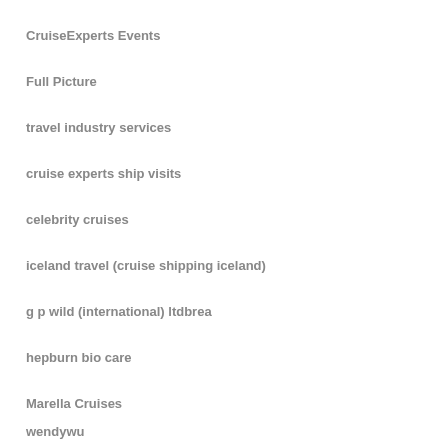CruiseExperts Events
Full Picture
travel industry services
cruise experts ship visits
celebrity cruises
iceland travel (cruise shipping iceland)
g p wild (international) ltdbrea
hepburn bio care
Marella Cruises
wendywu